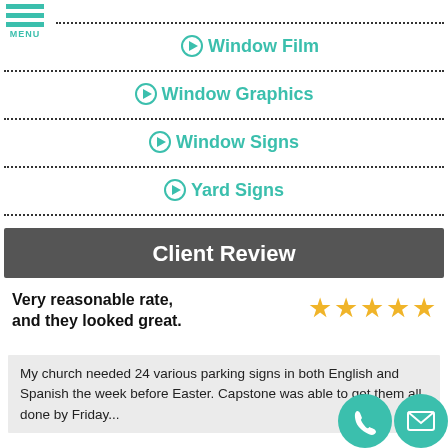⊙ Window Film
⊙ Window Graphics
⊙ Window Signs
⊙ Yard Signs
Client Review
Very reasonable rate, and they looked great.
My church needed 24 various parking signs in both English and Spanish the week before Easter. Capstone was able to get them all done by Friday...